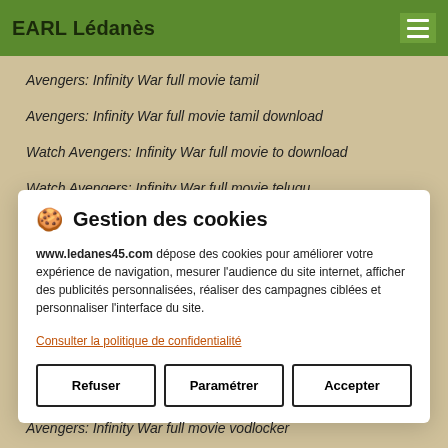EARL Lédanès
Avengers: Infinity War full movie tamil
Avengers: Infinity War full movie tamil download
Watch Avengers: Infinity War full movie to download
Watch Avengers: Infinity War full movie telugu
[Figure (screenshot): Cookie consent modal dialog with title 'Gestion des cookies', body text about www.ledanes45.com depositing cookies, a privacy policy link, and three buttons: Refuser, Paramétrer, Accepter]
Avengers: Infinity War full movie vodlocker